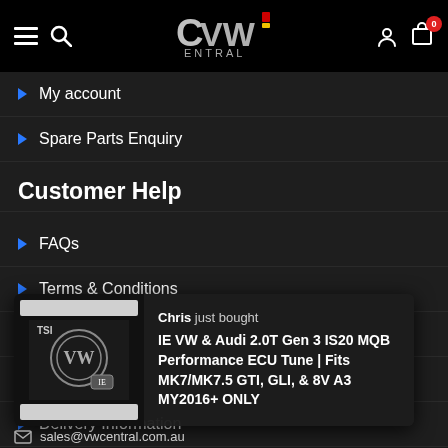VW Central — navigation header
My account
Spare Parts Enquiry
Customer Help
FAQs
Terms & Conditions
Privacy Policy
Return Policy
Delivery Information
Chris just bought IE VW & Audi 2.0T Gen 3 IS20 MQB Performance ECU Tune | Fits MK7/MK7.5 GTI, GLI, & 8V A3 MY2016+ ONLY
sales@vwcentral.com.au